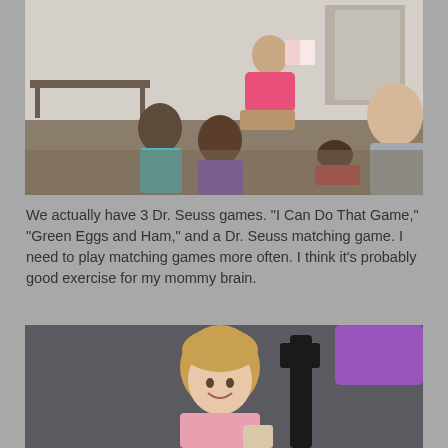[Figure (photo): A teacher or librarian sitting on a chair holding up a book or picture, with several young children sitting on the floor in front of her in what appears to be a classroom or library setting.]
We actually have 3 Dr. Seuss games. "I Can Do That Game," "Green Eggs and Ham," and a Dr. Seuss matching game. I need to play matching games more often. I think it's probably good exercise for my mommy brain.
[Figure (photo): A young girl with blonde hair smiling at the camera, sitting next to what appears to be a chair or piece of furniture, holding something in her hand. There is a purple bag or item visible in the background.]